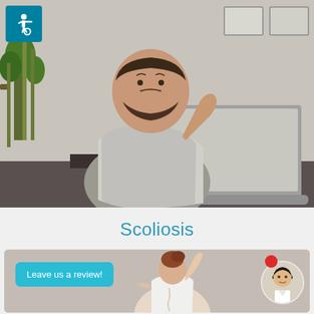[Figure (photo): Man grimacing in pain, scratching/holding his neck/back while using a laptop computer. Plants visible in background. Accessibility wheelchair symbol icon overlay in top-left corner.]
Scoliosis
[Figure (photo): Woman seen from behind showing her back, wearing a white top, with arm raised. A 'Leave us a review!' cyan button overlay on left. Doctor/nurse avatar photo in bottom right corner with red notification dot above.]